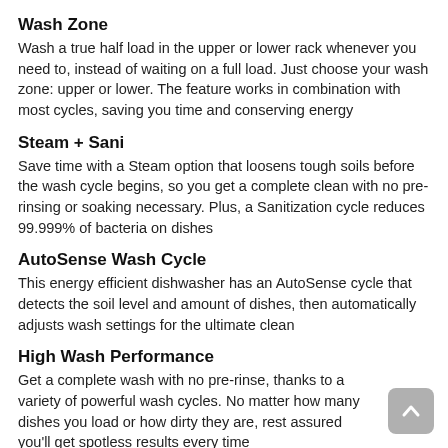Wash Zone
Wash a true half load in the upper or lower rack whenever you need to, instead of waiting on a full load. Just choose your wash zone: upper or lower. The feature works in combination with most cycles, saving you time and conserving energy
Steam + Sani
Save time with a Steam option that loosens tough soils before the wash cycle begins, so you get a complete clean with no pre-rinsing or soaking necessary. Plus, a Sanitization cycle reduces 99.999% of bacteria on dishes
AutoSense Wash Cycle
This energy efficient dishwasher has an AutoSense cycle that detects the soil level and amount of dishes, then automatically adjusts wash settings for the ultimate clean
High Wash Performance
Get a complete wash with no pre-rinse, thanks to a variety of powerful wash cycles. No matter how many dishes you load or how dirty they are, rest assured you'll get spotless results every time